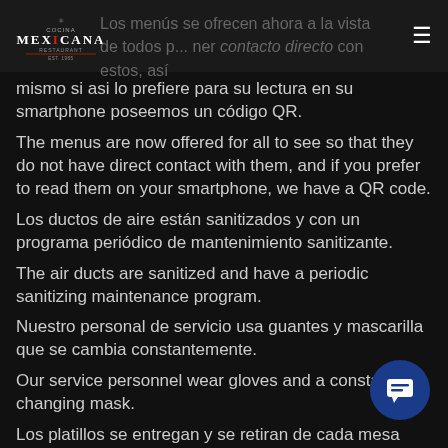Cocina Mexicana — navigation header with logo and hamburger menu
mismo si asi lo prefiere para su lectura en su smartphone poseemos un código QR.
The menus are now offered for all to see so that they do not have direct contact with them, and if you prefer to read them on your smartphone, we have a QR code.
Los ductos de aire están sanitizados y con un programa periódico de mantenimiento sanitizante.
The air ducts are sanitized and have a periodic sanitizing maintenance program.
Nuestro personal de servicio usa guantes y mascarilla que se cambia constantemente.
Our service personnel wear gloves and a constantly changing mask.
Los platillos se entregan y se retiran de cada mesa